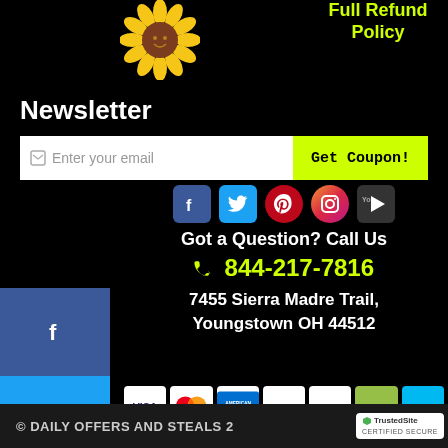[Figure (illustration): Sunflower badge/seal illustration in top left area]
Full Refund Policy
Newsletter
Enter your email | Get Coupon!
[Figure (logo): Facebook, Twitter, Pinterest, Instagram, YouTube social media icons in sidebar and row]
Got a Question? Call Us
844-217-7816
7455 Sierra Madre Trail, Youngstown OH 44512
[Figure (logo): Payment icons: Visa, Mastercard, American Express, Discover, PayPal, Shopify, Klarna]
© DAILY OFFERS AND STEALS 2   TrustedSite CERTIFIED SECURE